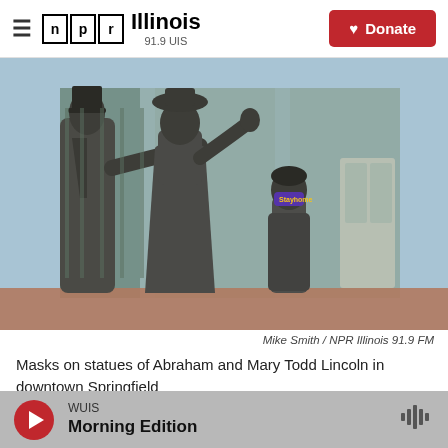NPR Illinois 91.9 UIS — Donate
[Figure (photo): Bronze statues of Abraham Lincoln, Mary Todd Lincoln, and a child in downtown Springfield. The child statue is wearing a purple face mask that reads 'Stayhome'.]
Mike Smith / NPR Illinois 91.9 FM
Masks on statues of Abraham and Mary Todd Lincoln in downtown Springfield
WUIS Morning Edition (audio player bar)